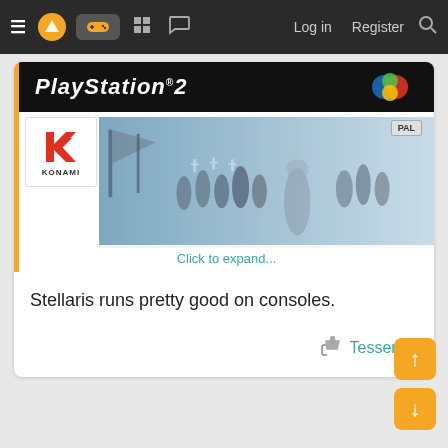☰ [logo] [games] [grid] [chat] Log in  Register 🔍
[Figure (screenshot): PlayStation 2 game box art showing Konami logo bottom-left, PAL badge top-right, medieval warriors scene, with a 'Click to expand...' link overlay at the bottom]
Stellaris runs pretty good on consoles.
👍 Tesseract